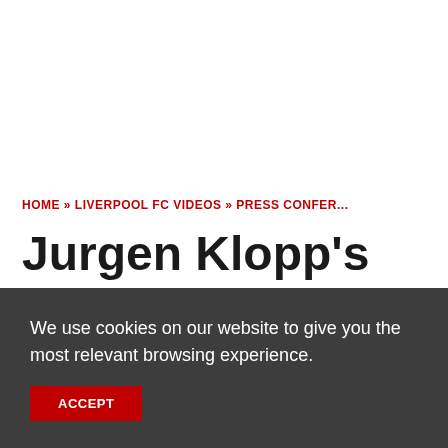HOME » LIVERPOOL FC VIDEOS » PRESS CONFER...
Jurgen Klopp's post- Manchester United press
We use cookies on our website to give you the most relevant browsing experience.